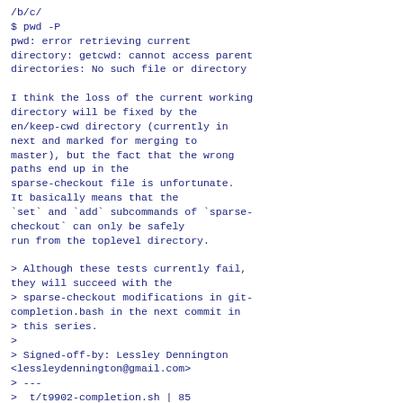/b/c/
$ pwd -P
pwd: error retrieving current
directory: getcwd: cannot access parent
directories: No such file or directory

I think the loss of the current working
directory will be fixed by the
en/keep-cwd directory (currently in
next and marked for merging to
master), but the fact that the wrong
paths end up in the
sparse-checkout file is unfortunate.
It basically means that the
`set` and `add` subcommands of `sparse-
checkout` can only be safely
run from the toplevel directory.

> Although these tests currently fail,
they will succeed with the
> sparse-checkout modifications in git-
completion.bash in the next commit in
> this series.
>
> Signed-off-by: Lessley Dennington
<lessleydennington@gmail.com>
> ---
>  t/t9902-completion.sh | 85
++++++++++++++++++++++++++++++++++++++++
>  1 file changed, 85 insertions(+)